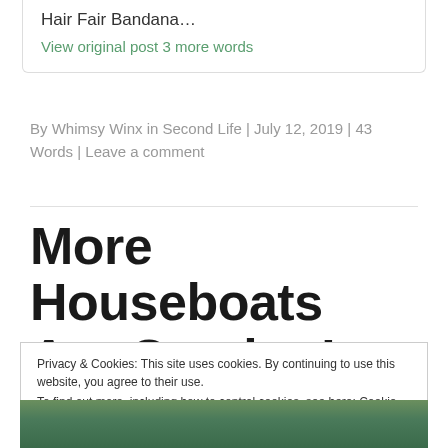Hair Fair Bandana…
View original post 3 more words
By Whimsy Winx in Second Life | July 12, 2019 | 43 Words | Leave a comment
More Houseboats Are Coming!
Privacy & Cookies: This site uses cookies. By continuing to use this website, you agree to their use.
To find out more, including how to control cookies, see here: Cookie Policy
Close and accept
[Figure (photo): Partial photo strip at bottom of page showing foliage and buildings]